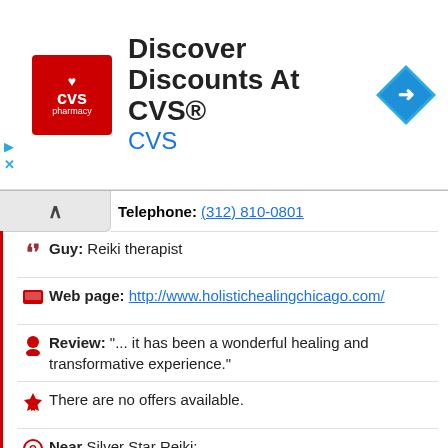[Figure (screenshot): CVS Pharmacy advertisement banner with CVS logo, text 'Discover Discounts At CVS®', 'CVS' link, and a blue navigation arrow icon]
Telephone: (312) 810-0801
Guy: Reiki therapist
Web page: http://www.holistichealingchicago.com/
Review: "... it has been a wonderful healing and transformative experience."
There are no offers available.
Near Silver Star Reiki:
a 291 meters away squishy shops at: Squishable
a 786 meters away donut shops: Doughnut Vault
a 929 meters away free plastic arts courses: School of the Art Institute of Chicago